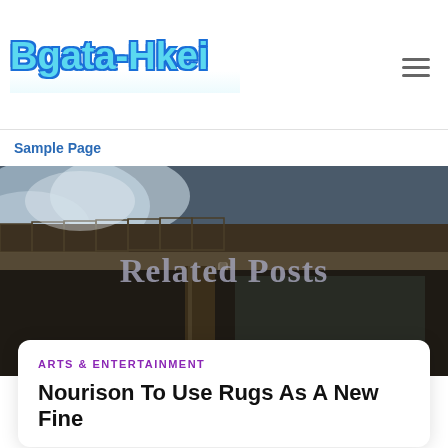Bgata-Hkei
Sample Page
[Figure (photo): Exterior photo of a house roof edge with gutters and downspout against a cloudy sky, dark tones]
Related Posts
ARTS & ENTERTAINMENT
Nourison To Use Rugs As A New Fine